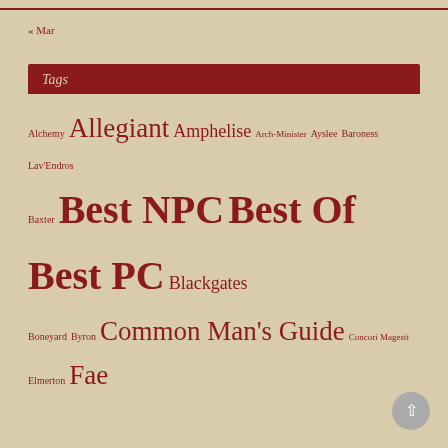« Mar
Tags
Alchemy Allegiant Amphelise Arch-Minister Ayslee Baroness Lav'Endros Baxter Best NPC Best Of Best PC Blackgates Boneyard Byron Common Man's Guide Concori Magesti Elmerton Fae Fledgar's Fellars Gatekeeper Gwendolar Hearkin House van Doren Irvanshire LARP Lav'Endros Magestream Magestry Matrius Morticent podcast Portal Authority portals Rebekkah Skye Right of Perdition Riverton Rybin vanHolt Shadow Queen Shadows Silas Stonecipher Sons of Alaric Story Queen Vampires War King Windlock Woodtrolls